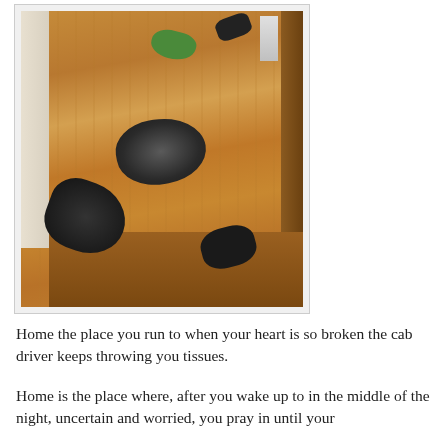[Figure (photo): A hallway or room with wooden floorboards. Clothes and items are scattered on the floor — a pile of black/grey clothing in the centre, a green item near the top, black clothing in the bottom left, and dark items near stairs or a step.]
Home the place you run to when your heart is so broken the cab driver keeps throwing you tissues.
Home is the place where, after you wake up to in the middle of the night, uncertain and worried, you pray in until your